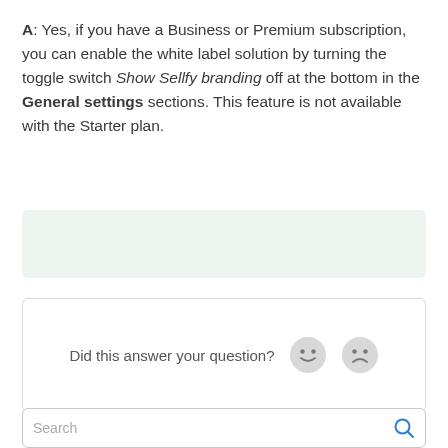A: Yes, if you have a Business or Premium subscription, you can enable the white label solution by turning the toggle switch Show Sellfy branding off at the bottom in the General settings sections. This feature is not available with the Starter plan.
[Figure (other): Light green background box, empty content area]
Did this answer your question? [happy emoji] [sad emoji]
Still need help? Contact Us    Last updated on July 29, 2022
Search